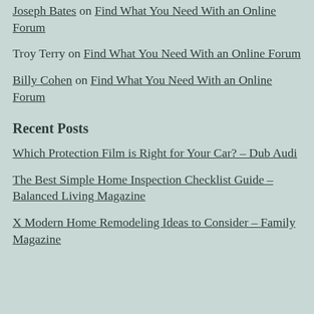Joseph Bates on Find What You Need With an Online Forum
Troy Terry on Find What You Need With an Online Forum
Billy Cohen on Find What You Need With an Online Forum
Recent Posts
Which Protection Film is Right for Your Car? – Dub Audi
The Best Simple Home Inspection Checklist Guide – Balanced Living Magazine
X Modern Home Remodeling Ideas to Consider – Family Magazine